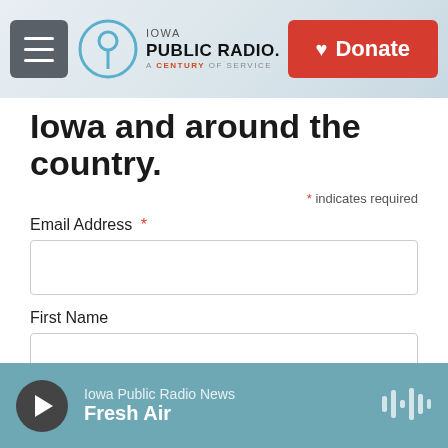Iowa Public Radio. A Century of Service. Donate
Iowa and around the country.
* indicates required
Email Address *
First Name
Last Name
Subscribe
Iowa Public Radio News — Fresh Air